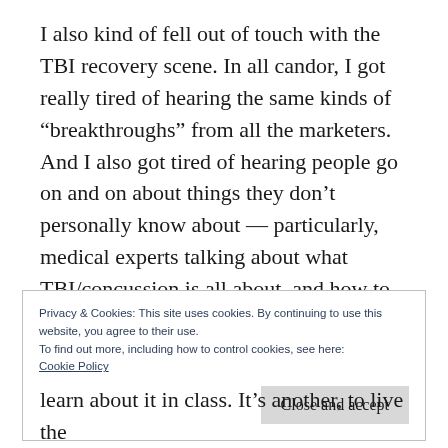I also kind of fell out of touch with the TBI recovery scene. In all candor, I got really tired of hearing the same kinds of “breakthroughs” from all the marketers. And I also got tired of hearing people go on and on about things they don’t personally know about — particularly, medical experts talking about what TBI/concussion is all about, and how to handle it.
Privacy & Cookies: This site uses cookies. By continuing to use this website, you agree to their use.
To find out more, including how to control cookies, see here:
Cookie Policy
learn about it in class. It’s another, to live the